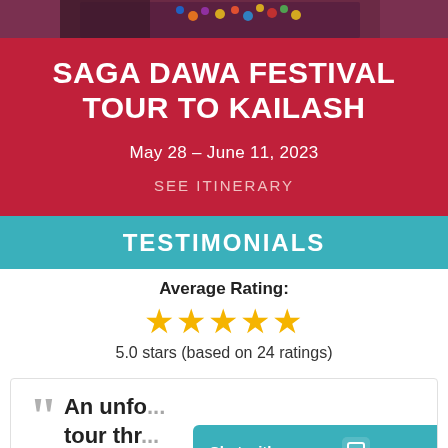[Figure (photo): Top strip showing a partial photo of a person with colorful decorative items, partially cropped]
SAGA DAWA FESTIVAL TOUR TO KAILASH
May 28 – June 11, 2023
SEE ITINERARY
TESTIMONIALS
Average Rating:
★★★★★
5.0 stars (based on 24 ratings)
An unfo... tour thr...